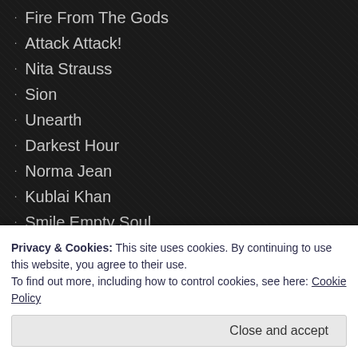Fire From The Gods
Attack Attack!
Nita Strauss
Sion
Unearth
Darkest Hour
Norma Jean
Kublai Khan
Smile Empty Soul
Silent Planet
Siamese
Holding Absence
Otherwise
Crowbar
Privacy & Cookies: This site uses cookies. By continuing to use this website, you agree to their use. To find out more, including how to control cookies, see here: Cookie Policy
Close and accept